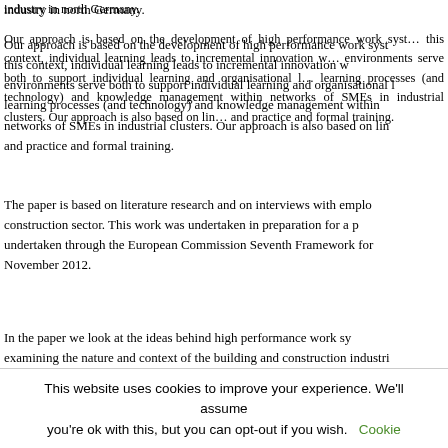industry in north Germany.
Our approach is based on the development of high performance work systems. In this context, individual learning leads to incremental innovation where environments serve both to support individual learning and organisational learning processes (and technology) and knowledge management within networks of SMEs in industrial clusters. Our approach is also based on linking theory and practice and formal training.
The paper is based on literature research and on interviews with employers in the construction sector. This work was undertaken in preparation for a project undertaken through the European Commission Seventh Framework for Research in November 2012.
In the paper we look at the ideas behind high performance work systems before examining the nature and context of the building and construction industries and the industrial cluster.
This website uses cookies to improve your experience. We'll assume you're ok with this, but you can opt-out if you wish. Cookie settings ACCEPT